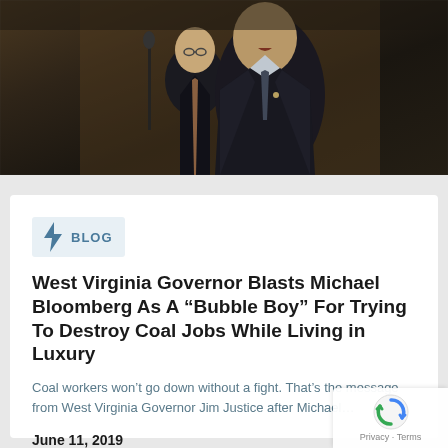[Figure (photo): Two men in dark suits speaking at a microphone, photographed from below against a warm brown background]
BLOG
West Virginia Governor Blasts Michael Bloomberg As A “Bubble Boy” For Trying To Destroy Coal Jobs While Living in Luxury
Coal workers won’t go down without a fight. That’s the message from West Virginia Governor Jim Justice after Michael…
June 11, 2019